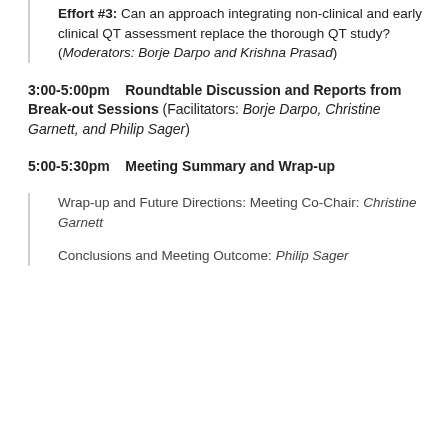Effort #3: Can an approach integrating non-clinical and early clinical QT assessment replace the thorough QT study? (Moderators: Borje Darpo and Krishna Prasad)
3:00-5:00pm    Roundtable Discussion and Reports from Break-out Sessions (Facilitators: Borje Darpo, Christine Garnett, and Philip Sager)
5:00-5:30pm    Meeting Summary and Wrap-up
Wrap-up and Future Directions: Meeting Co-Chair: Christine Garnett
Conclusions and Meeting Outcome: Philip Sager